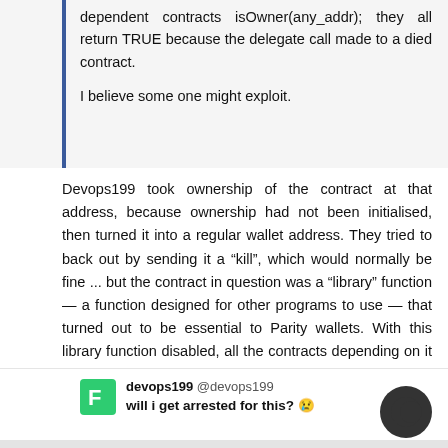dependent contracts isOwner(any_addr); they all return TRUE because the delegate call made to a died contract.

I believe some one might exploit.
Devops199 took ownership of the contract at that address, because ownership had not been initialised, then turned it into a regular wallet address. They tried to back out by sending it a "kill", which would normally be fine ... but the contract in question was a "library" function — a function designed for other programs to use — that turned out to be essential to Parity wallets. With this library function disabled, all the contracts depending on it couldn't work any more. An accidental left-pad incident in production, where a minor function that was deleted turned out to be a dependency of much more important things.
devops199 @devops199
will i get arrested for this? 😢